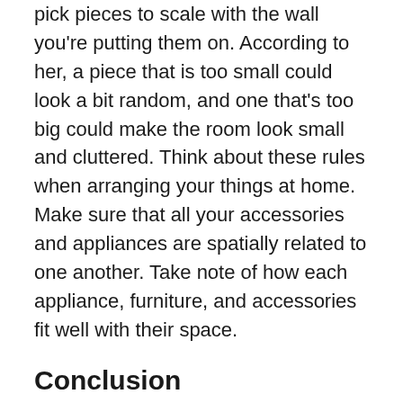pick pieces to scale with the wall you're putting them on. According to her, a piece that is too small could look a bit random, and one that's too big could make the room look small and cluttered. Think about these rules when arranging your things at home. Make sure that all your accessories and appliances are spatially related to one another. Take note of how each appliance, furniture, and accessories fit well with their space.
Conclusion
Make the most of your time by avoiding unnecessary errors that could ruin the design of your custom home in Tampa. Prevent your home from having a boring entry, too many